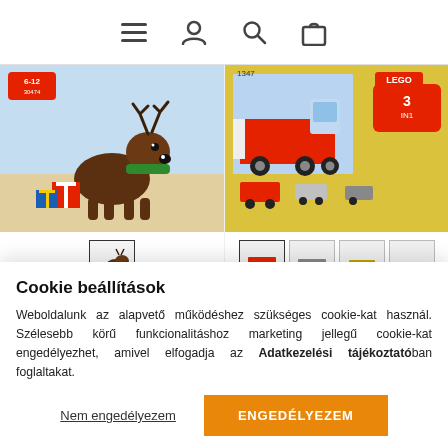[Figure (screenshot): Website navigation bar with hamburger menu, user account, search, and shopping bag icons]
[Figure (photo): LEGO Creator 30474 Rénszarvas product box showing a reindeer with gift boxes, ages 6-12]
30474 LEGO® Creator Rénszarvas
Raktáron
[Figure (photo): LEGO Creator 7347 Országúti autómentő product box showing a 3-in-1 red truck]
7347 LEGO® Creator Országúti autómentő
Nincs raktáron
Cookie beállítások
Weboldalunk az alapvető működéshez szükséges cookie-kat használ. Szélesebb körű funkcionalitáshoz marketing jellegű cookie-kat engedélyezhet, amivel elfogadja az Adatkezelési tájékoztatóban foglaltakat.
Nem engedélyezem
ENGEDÉLYEZEM